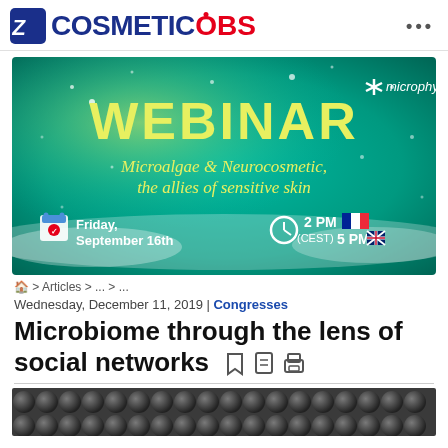COSMETICOBS
[Figure (photo): Webinar advertisement banner with teal/green underwater background. Large yellow text 'WEBINAR', italic yellow text 'Microalgae & Neurocosmetic, the allies of sensitive skin', Microphyt logo top right with asterisk icon, calendar icon and date 'Friday, September 16th', clock icon and times '2 PM (CEST) 5 PM' with French and UK flags.]
🏠 > Articles > ... > ...
Wednesday, December 11, 2019 | Congresses
Microbiome through the lens of social networks
[Figure (photo): Close-up microscopy image showing dense arrangement of dark spherical microbiome particles/cells.]